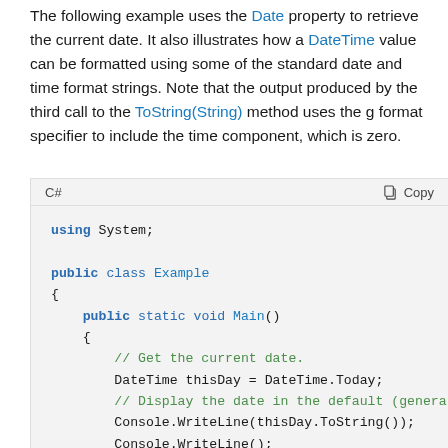The following example uses the Date property to retrieve the current date. It also illustrates how a DateTime value can be formatted using some of the standard date and time format strings. Note that the output produced by the third call to the ToString(String) method uses the g format specifier to include the time component, which is zero.
[Figure (screenshot): C# code block with syntax highlighting showing a using System; statement, public class Example with a public static void Main() method. The method includes comments and Console.WriteLine calls using DateTime.Today and ToString() with format specifiers.]